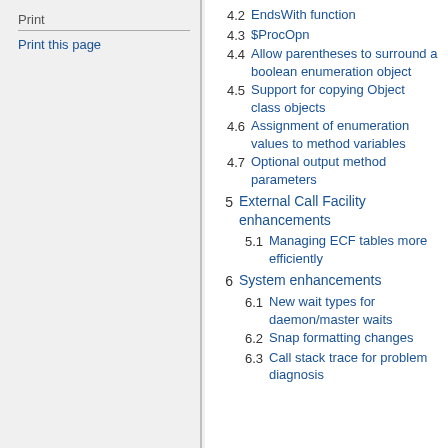Print
Print this page
4.2 EndsWith function
4.3 $ProcOpn
4.4 Allow parentheses to surround a boolean enumeration object
4.5 Support for copying Object class objects
4.6 Assignment of enumeration values to method variables
4.7 Optional output method parameters
5  External Call Facility enhancements
5.1 Managing ECF tables more efficiently
6  System enhancements
6.1 New wait types for daemon/master waits
6.2 Snap formatting changes
6.3 Call stack trace for problem diagnosis